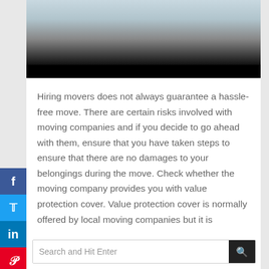[Figure (photo): Partial photo of a person at top of page, fading to black at bottom]
Hiring movers does not always guarantee a hassle-free move. There are certain risks involved with moving companies and if you decide to go ahead with them, ensure that you have taken steps to ensure that there are no damages to your belongings during the move. Check whether the moving company provides you with value protection cover. Value protection cover is normally offered by local moving companies but it is important to note that they are not required by international moving companies.